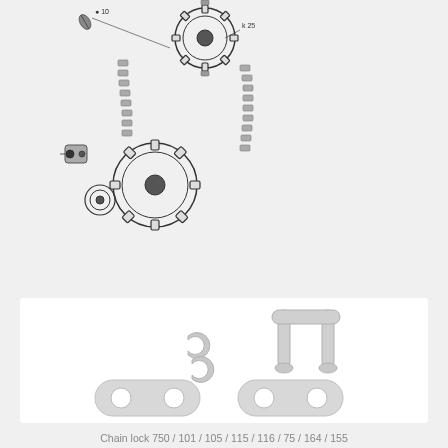[Figure (engineering-diagram): Technical exploded-view engineering diagram of a chain drive assembly showing sprockets, chain links, tensioner, and fasteners with leader lines and part number annotations.]
[Figure (photo): Product photo of a chain lock/master link set showing two side plates (oval-shaped with two holes), a U-shaped link with two pins, and two C-clip retaining clips, all shown in light gray/silver against a white background.]
Chain lock 750 / 101 / 105 / 115 / 116 / 75 / 164 / 155